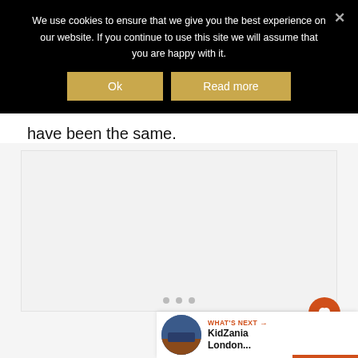We use cookies to ensure that we give you the best experience on our website. If you continue to use this site we will assume that you are happy with it.
Ok
Read more
have been the same.
[Figure (photo): Image placeholder area (light gray background)]
[Figure (photo): Thumbnail image for KidZania London next article]
WHAT'S NEXT → KidZania London...